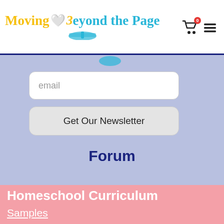Moving Beyond the Page
email
Get Our Newsletter
Forum
Homeschool Curriculum
Samples